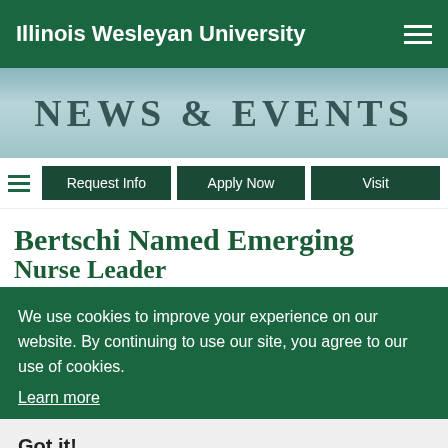Illinois Wesleyan University
[Figure (screenshot): NEWS & EVENTS banner with campus background image]
Request Info | Apply Now | Visit
Bertschi Named Emerging Nurse Leader
July 21, 2017
By Illinois Wesleyan University Assistant Professor of Nursing Lydia Bertschi has been selected as a recipient of
We use cookies to improve your experience on our website. By continuing to use our site, you agree to our use of cookies. Learn more
Got it!